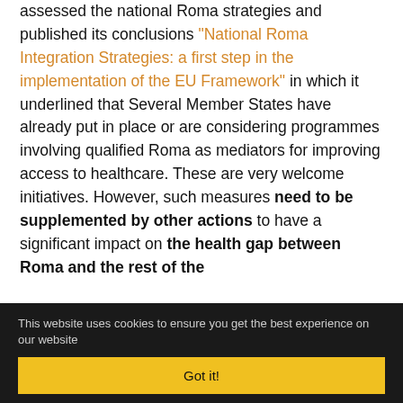assessed the national Roma strategies and published its conclusions "National Roma Integration Strategies: a first step in the implementation of the EU Framework" in which it underlined that Several Member States have already put in place or are considering programmes involving qualified Roma as mediators for improving access to healthcare. These are very welcome initiatives. However, such measures need to be supplemented by other actions to have a significant impact on the health gap between Roma and the rest of the
This website uses cookies to ensure you get the best experience on our website
Got it!